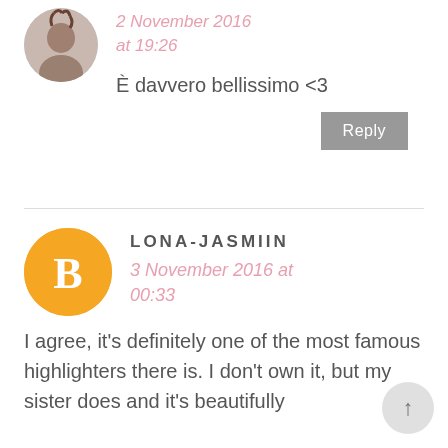[Figure (photo): Circular avatar photo of a person with braids, partially cropped at top]
2 November 2016 at 19:26
È davvero bellissimo <3
Reply
[Figure (logo): Orange circle with white Blogger 'B' icon]
LONA-JASMIIN
3 November 2016 at 00:33
I agree, it's definitely one of the most famous highlighters there is. I don't own it, but my sister does and it's beautifully